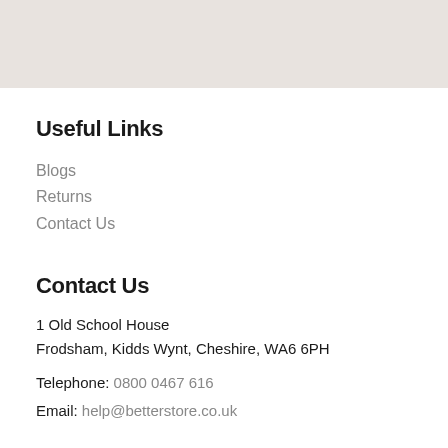[Figure (other): Light beige/grey banner area at the top of the page]
Useful Links
Blogs
Returns
Contact Us
Contact Us
1 Old School House
Frodsham, Kidds Wynt, Cheshire, WA6 6PH
Telephone: 08000467616
Email: help@betterstore.co.uk